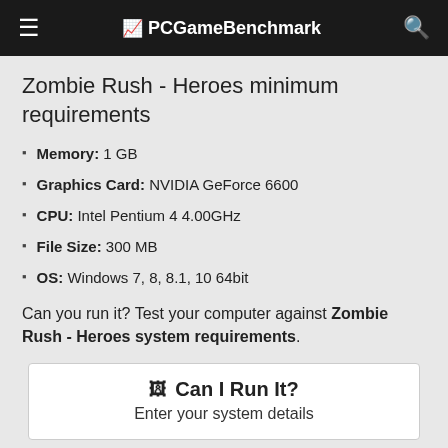≡  PCGameBenchmark  🔍
Zombie Rush - Heroes minimum requirements
Memory: 1 GB
Graphics Card: NVIDIA GeForce 6600
CPU: Intel Pentium 4 4.00GHz
File Size: 300 MB
OS: Windows 7, 8, 8.1, 10 64bit
Can you run it? Test your computer against Zombie Rush - Heroes system requirements.
🖥  Can I Run It?
Enter your system details